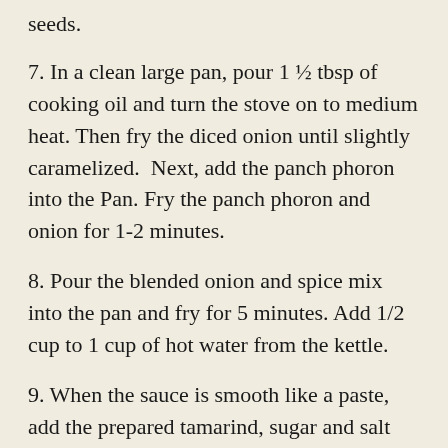seeds.
7. In a clean large pan, pour 1 ½ tbsp of cooking oil and turn the stove on to medium heat. Then fry the diced onion until slightly caramelized.  Next, add the panch phoron into the Pan. Fry the panch phoron and onion for 1-2 minutes.
8. Pour the blended onion and spice mix into the pan and fry for 5 minutes. Add 1/2 cup to 1 cup of hot water from the kettle.
9. When the sauce is smooth like a paste, add the prepared tamarind, sugar and salt and mix well. Cook for a few minutes until the sauce is nice and thick. Taste it at this point to see if there's anything more you need to add. You can make it as sweet or as sour as you like although “khatta” is technically a sour tasting dish.
10. When the sauce is ready, add the fried or baked